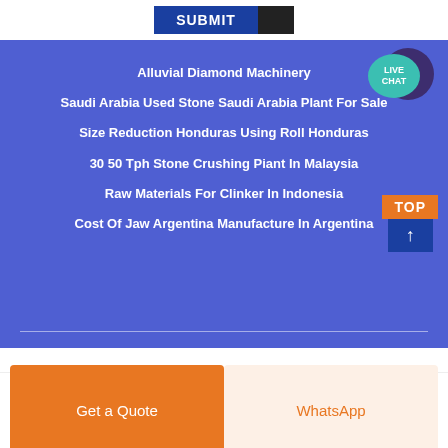[Figure (screenshot): Submit button and dark icon at top of page]
[Figure (screenshot): Live Chat bubble badge in teal and purple]
Alluvial Diamond Machinery
Saudi Arabia Used Stone Saudi Arabia Plant For Sale
Size Reduction Honduras Using Roll Honduras
30 50 Tph Stone Crushing Piant In Malaysia
Raw Materials For Clinker In Indonesia
Cost Of Jaw Argentina Manufacture In Argentina
[Figure (screenshot): TOP button with orange label and blue arrow pointing up]
Get a Quote
WhatsApp